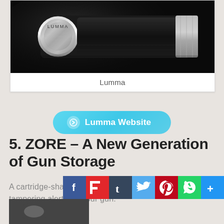[Figure (photo): Close-up photo of a Lumma branded cylindrical metallic product on black background]
Lumma
[Figure (infographic): Cyan rounded button with arrow icon labeled 'Lumma Website']
5. ZORE – A New Generation of Gun Storage
A cartridge-shaped lock that allows quick access & offers tampering alerts for your gun.
[Figure (infographic): Social sharing bar with Facebook, Flipboard, Tumblr, Twitter, Pinterest, WhatsApp, and More icons]